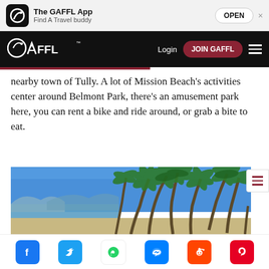[Figure (screenshot): GAFFL app banner ad with icon, title 'The GAFFL App', subtitle 'Find A Travel buddy', and OPEN button]
[Figure (screenshot): GAFFL website navigation bar with logo, Login link, JOIN GAFFL button, and hamburger menu]
nearby town of Tully. A lot of Mission Beach's activities center around Belmont Park, there's an amusement park here, you can rent a bike and ride around, or grab a bite to eat.
[Figure (photo): Tropical beach scene with palm trees leaning over a sandy shore under a blue sky]
[Figure (screenshot): Social media share bar with Facebook, Twitter, WhatsApp, Messenger, Reddit, and Pinterest icons]